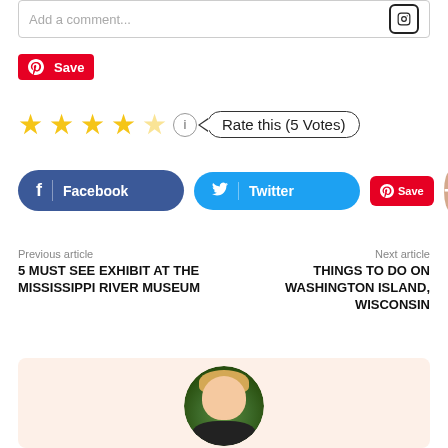Add a comment...
[Figure (illustration): Pinterest Save button (red, with Pinterest logo)]
★★★★☆ Rate this (5 Votes)
[Figure (illustration): Social share buttons: Facebook, Twitter, Pinterest Save, and a plus button]
Previous article
5 MUST SEE EXHIBIT AT THE MISSISSIPPI RIVER MUSEUM
Next article
THINGS TO DO ON WASHINGTON ISLAND, WISCONSIN
[Figure (photo): Circular portrait photo of a blonde woman smiling, with green foliage background]